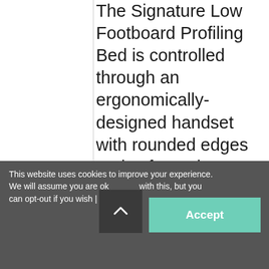The Signature Low Footboard Profiling Bed is controlled through an ergonomically-designed handset with rounded edges and soft-touch buttons. The handset has a locking feature that allows the operator to deactivate all or certain functions to
This website uses cookies to improve your experience. We will assume you are ok with this, but you can opt-out if you wish | Read More